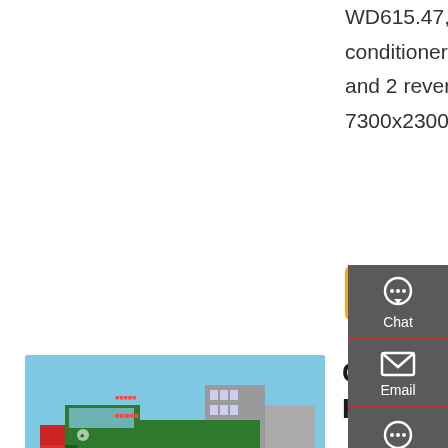WD615.47, 371HP. Cabin : With one bed, air conditioner. Gearbox : With 10 forward gear and 2 reverse gear. Bucket : 7300x2300x1500mm.
Get a Quote
[Figure (photo): Green Sinotruk HOWO 8x4 tipper truck parked in a lot with buildings and other trucks in the background]
China Sinotruk Price In Ethiopia HOWO 8X4 Tipper Truck
Truck, Dumper, Dump Truck manufacturer / supplier in China, offering Sinotruk Price in